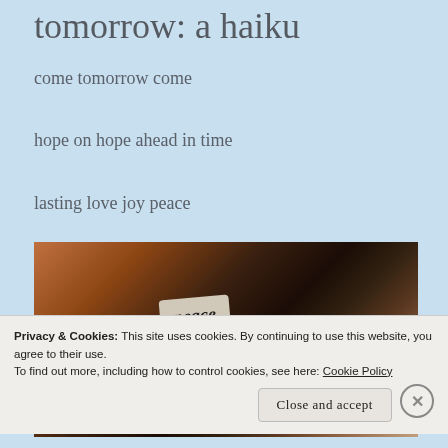tomorrow: a haiku
come tomorrow come
hope on hope ahead in time
lasting love joy peace
[Figure (photo): A dark photograph showing what appears to be a bottle or object with a decorative label reading 'peace' in cursive script on a dark wooden surface.]
Privacy & Cookies: This site uses cookies. By continuing to use this website, you agree to their use.
To find out more, including how to control cookies, see here: Cookie Policy
Close and accept